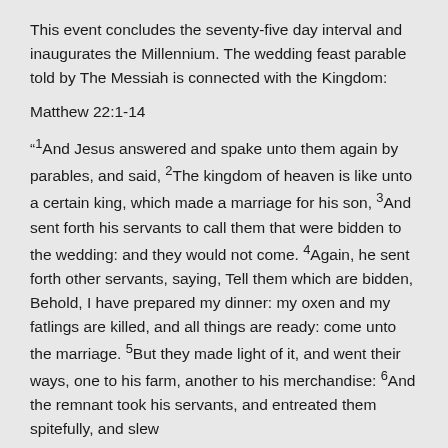This event concludes the seventy-five day interval and inaugurates the Millennium. The wedding feast parable told by The Messiah is connected with the Kingdom:
Matthew 22:1-14
"1And Jesus answered and spake unto them again by parables, and said, 2The kingdom of heaven is like unto a certain king, which made a marriage for his son, 3And sent forth his servants to call them that were bidden to the wedding: and they would not come. 4Again, he sent forth other servants, saying, Tell them which are bidden, Behold, I have prepared my dinner: my oxen and my fatlings are killed, and all things are ready: come unto the marriage. 5But they made light of it, and went their ways, one to his farm, another to his merchandise: 6And the remnant took his servants, and entreated them spitefully, and slew